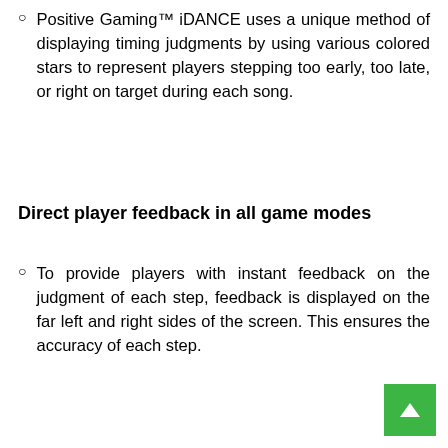Positive Gaming™ iDANCE uses a unique method of displaying timing judgments by using various colored stars to represent players stepping too early, too late, or right on target during each song.
Direct player feedback in all game modes
To provide players with instant feedback on the judgment of each step, feedback is displayed on the far left and right sides of the screen. This ensures the accuracy of each step.